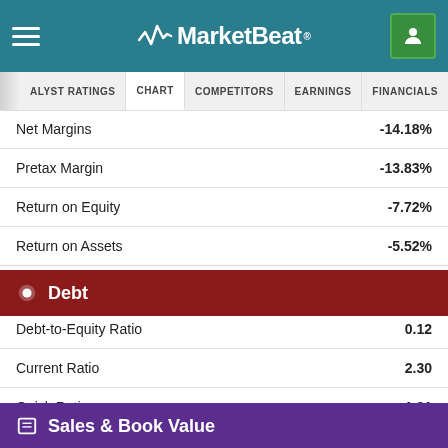MarketBeat
ALYST RATINGS  CHART  COMPETITORS  EARNINGS  FINANCIALS  INSIDER T
| Metric | Value |
| --- | --- |
| Net Margins | -14.18% |
| Pretax Margin | -13.83% |
| Return on Equity | -7.72% |
| Return on Assets | -5.52% |
Debt
| Metric | Value |
| --- | --- |
| Debt-to-Equity Ratio | 0.12 |
| Current Ratio | 2.30 |
| Quick Ratio | 1.91 |
Sales & Book Value
| Metric | Value |
| --- | --- |
| Annual Sales | $1.77 billion |
| Price / Sales | 0.93 |
| Cash Flow | $0.97 per share |